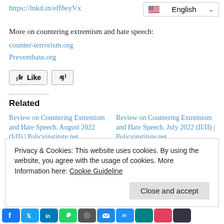https://lnkd.in/eff8eyVx
[Figure (screenshot): Language selector dropdown showing English with US flag]
More on countering extremism and hate speech:
counter-terrorism.org
Preventhate.org
[Figure (other): Like and dislike buttons]
Related
Review on Countering Extremism and Hate Speech. August 2022 (I/II) | Policyinstitute.net
In "Insights"
Review on Countering Extremism and Hate Speech. July 2022 (II/II) | Policyinstitute.net
In "Insights"
Review on Countering
Privacy & Cookies: This website uses cookies. By using the website, you agree with the usage of cookies. More Information here: Cookie Guideline
Close and accept
[Figure (other): Social sharing icons bar at the bottom (Facebook, Twitter, LinkedIn, WhatsApp, and others)]